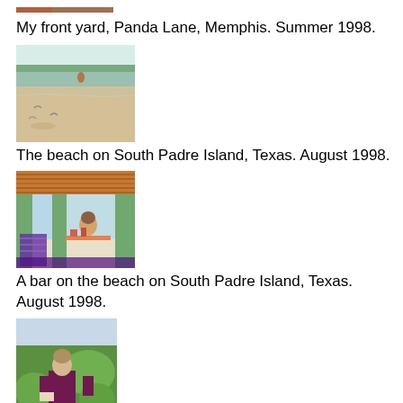[Figure (illustration): Partial view of artwork showing front yard, Panda Lane, Memphis - only bottom edge visible]
My front yard, Panda Lane, Memphis. Summer 1998.
[Figure (illustration): Watercolor-style painting of a beach scene on South Padre Island, Texas with figures and birds on sandy shore]
The beach on South Padre Island, Texas. August 1998.
[Figure (illustration): Painting of a bar on the beach on South Padre Island, Texas with figures, colorful interior, thatched roof]
A bar on the beach on South Padre Island, Texas. August 1998.
[Figure (illustration): Painting of a woman in dark dress reading by a lake with green foliage]
The Reader by the Lake. February 1999.